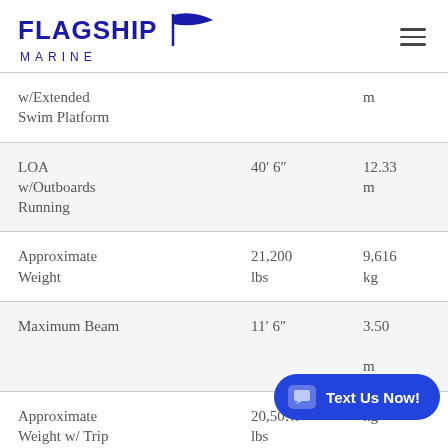[Figure (logo): Flagship Marine logo with flag icon and hamburger menu icon]
| w/Extended Swim Platform |  | m |
| LOA w/Outboards Running | 40′ 6″ | 12.33 m |
| Approximate Weight | 21,200 lbs | 9,616 kg |
| Maximum Beam | 11′ 6″ | 3.50 m |
| Approximate Weight w/ Trip | 20,50… lbs | kg |